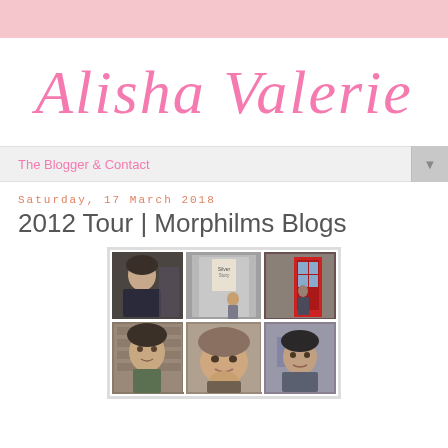Alisha Valerie
The Blogger & Contact
Saturday, 17 March 2018
2012 Tour | Morphilms Blogs
[Figure (photo): A 3x2 grid of six photos showing young people on a tour, including someone by a Silver Story poster and a red phone box.]